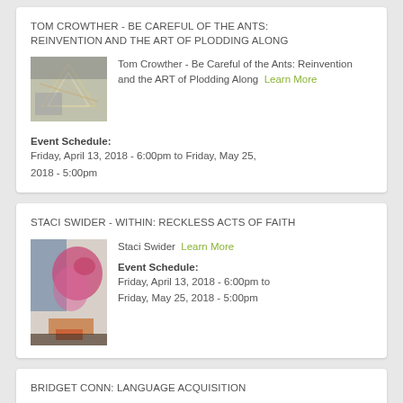TOM CROWTHER - BE CAREFUL OF THE ANTS: REINVENTION AND THE ART OF PLODDING ALONG
[Figure (photo): Painting with abstract geometric shapes, triangles, lines, muted colors of grey, yellow, pink]
Tom Crowther - Be Careful of the Ants: Reinvention and the ART of Plodding Along Learn More
Event Schedule: Friday, April 13, 2018 - 6:00pm to Friday, May 25, 2018 - 5:00pm
STACI SWIDER - WITHIN: RECKLESS ACTS OF FAITH
[Figure (photo): Abstract painting with pink/magenta splashes and marks on white/cream background with dark blue and orange elements]
Staci Swider Learn More
Event Schedule: Friday, April 13, 2018 - 6:00pm to Friday, May 25, 2018 - 5:00pm
BRIDGET CONN: LANGUAGE ACQUISITION
Main Gallery, June 8 - July 20,